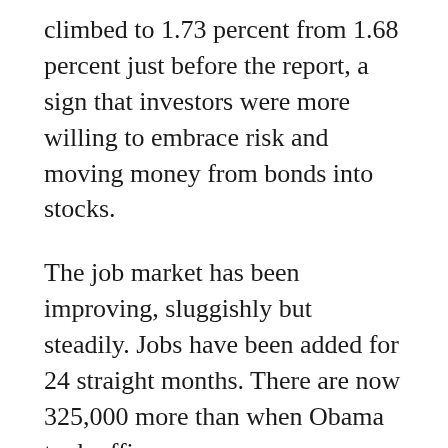climbed to 1.73 percent from 1.68 percent just before the report, a sign that investors were more willing to embrace risk and moving money from bonds into stocks.
The job market has been improving, sluggishly but steadily. Jobs have been added for 24 straight months. There are now 325,000 more than when Obama took office.
The September gains were led by the health care industry, which added 44,000 jobs — the most since February. Transportation and warehousing also showed large gains. The revisions showed that governments actually added 63,000 jobs in July and August,